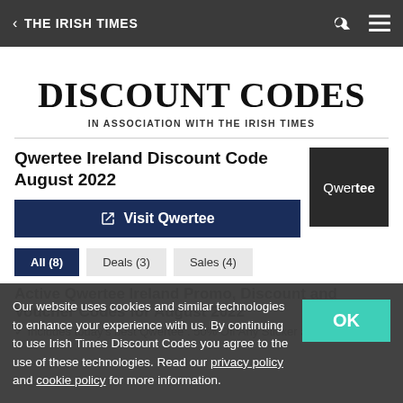< THE IRISH TIMES
DISCOUNT CODES
IN ASSOCIATION WITH THE IRISH TIMES
Qwertee Ireland Discount Code August 2022
Visit Qwertee
All (8)
Deals (3)
Sales (4)
Our website uses cookies and similar technologies to enhance your experience with us. By continuing to use Irish Times Discount Codes you agree to the use of these technologies. Read our privacy policy and cookie policy for more information.